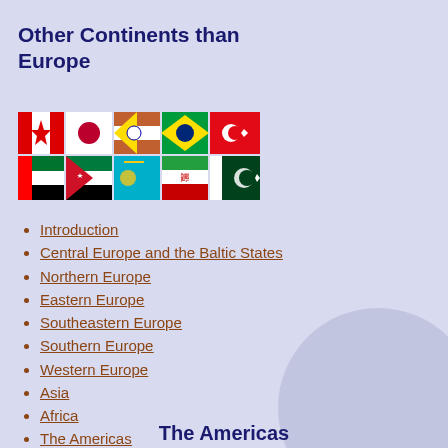Other Continents than Europe
[Figure (illustration): A collage of flags from various countries including Canada, Japan, Tibet, Brazil, Turkey, India, UAE, Jordan, Kazakhstan, Iran, Pakistan arranged in two rows]
Introduction
Central Europe and the Baltic States
Northern Europe
Eastern Europe
Southeastern Europe
Southern Europe
Western Europe
Asia
Africa
The Americas
Australia and New Zealand
Other Links
The Americas